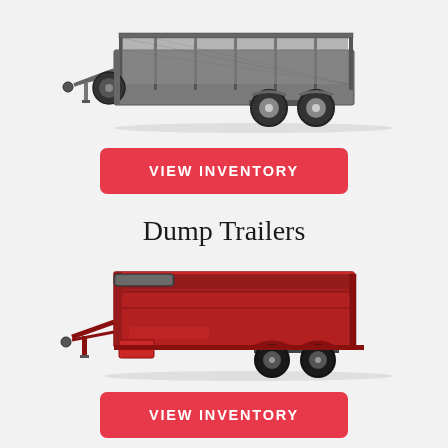[Figure (photo): A gray utility/landscape trailer with mesh side rails, dual rear axle, and a spare tire on the tongue, viewed from a 3/4 front angle on white/light background.]
VIEW INVENTORY
Dump Trailers
[Figure (photo): A red Diamond C dump trailer with high sides, dual rear axle, and a tarp roll over the top, viewed from a 3/4 front angle on white/light background.]
VIEW INVENTORY
Enclosed Trailers